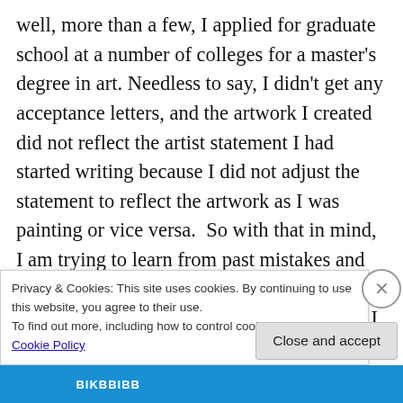well, more than a few, I applied for graduate school at a number of colleges for a master's degree in art. Needless to say, I didn't get any acceptance letters, and the artwork I created did not reflect the artist statement I had started writing because I did not adjust the statement to reflect the artwork as I was painting or vice versa. So with that in mind, I am trying to learn from past mistakes and catch this lack of synchronicity between my artist's statement and the work in progress. I hope that writing about how to write
Privacy & Cookies: This site uses cookies. By continuing to use this website, you agree to their use.
To find out more, including how to control cookies, see here: Cookie Policy
Close and accept